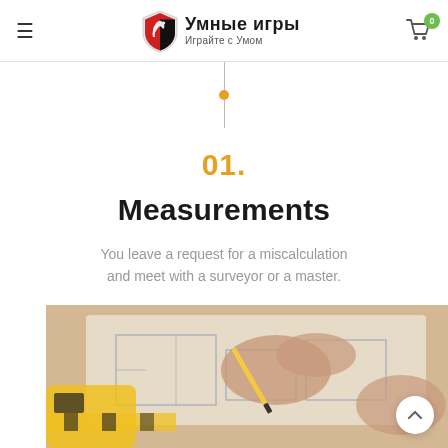Умные игры — Играйте с Умом (navigation header with logo, hamburger menu, cart icon with badge 0)
01.
Measurements
You leave a request for a miscalculation and meet with a surveyor or a master.
[Figure (photo): Hands drawing floor plan blueprints on paper with a pencil, yellow tape measure visible in the foreground.]